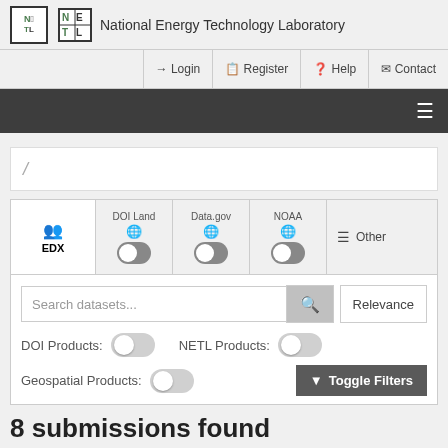National Energy Technology Laboratory
Login  Register  Help  Contact
/ (search slash)
EDX  DOI Land  Data.gov  NOAA  Other
Search datasets...  Relevance
DOI Products:  NETL Products:
Geospatial Products:  Toggle Filters
8 submissions found